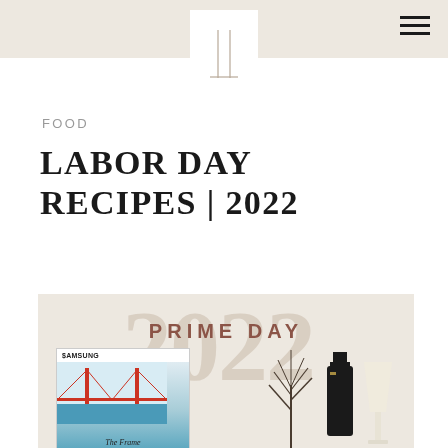FOOD
LABOR DAY RECIPES | 2022
[Figure (illustration): Promotional banner with large text '2022' in tan/beige color, overlaid with 'PRIME DAY' text in brown. Below are product images including a Samsung The Frame TV and what appears to a bottle/wine glass with a plant/tree. Background is light beige.]